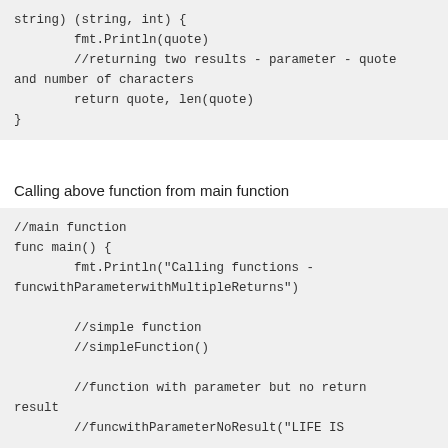string) (string, int) {
        fmt.Println(quote)
        //returning two results - parameter - quote and number of characters
        return quote, len(quote)
}
Calling above function from main function
//main function
func main() {
        fmt.Println("Calling functions - funcwithParameterwithMultipleReturns")

        //simple function
        //simpleFunction()

        //function with parameter but no return result
        //funcwithParameterNoResult("LIFE IS